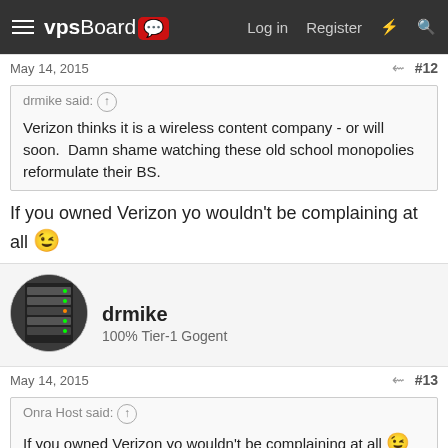vpsBoard — Log in | Register
May 14, 2015  #12
drmike said: ↑

Verizon thinks it is a wireless content company - or will soon.  Damn shame watching these old school monopolies reformulate their BS.
If you owned Verizon yo wouldn't be complaining at all 😉
drmike
100% Tier-1 Gogent
May 14, 2015  #13
Onra Host said: ↑

If you owned Verizon yo wouldn't be complaining at all 😉
Public traded company, so you never know 🙂  Oh wait I don't